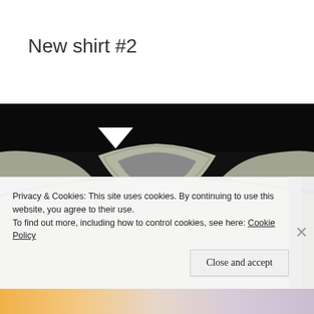New shirt #2
[Figure (photo): Close-up photo of a light olive/sage green Gildan Heavy Cotton t-shirt showing the crew neckline and tag, on a black background]
Privacy & Cookies: This site uses cookies. By continuing to use this website, you agree to their use.
To find out more, including how to control cookies, see here: Cookie Policy
Close and accept